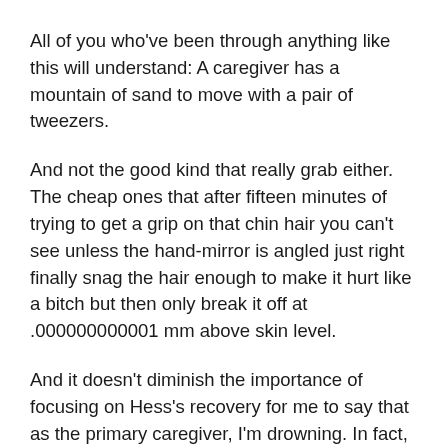All of you who've been through anything like this will understand: A caregiver has a mountain of sand to move with a pair of tweezers.
And not the good kind that really grab either. The cheap ones that after fifteen minutes of trying to get a grip on that chin hair you can't see unless the hand-mirror is angled just right finally snag the hair enough to make it hurt like a bitch but then only break it off at .000000000001 mm above skin level.
And it doesn't diminish the importance of focusing on Hess's recovery for me to say that as the primary caregiver, I'm drowning. In fact, the most critical thing in my universe is Hess's recovery, but, but, but, I'm